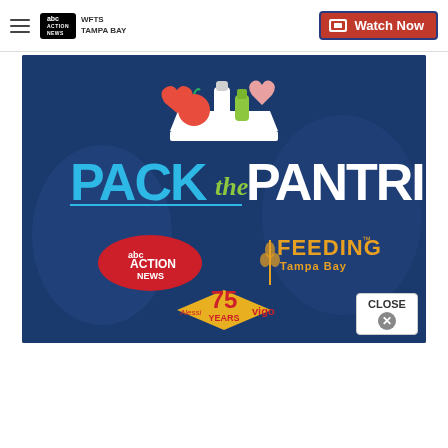WFTS Tampa Bay | ABC Action News — Watch Now
[Figure (illustration): Pack the Pantries promotional image with ABC Action News and Feeding Tampa Bay logos, blue background with food icons, 75 Years badge]